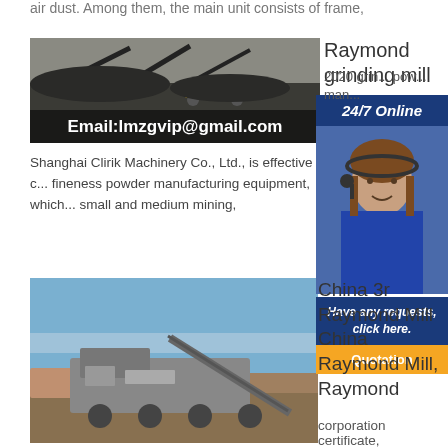air dust. Among them, the main unit consists of frame,
[Figure (photo): Mining/quarrying site with conveyor belts and heavy equipment, with overlay text Email:lmzgvip@gmail.com]
Raymond grinding mill pow... 2020 grin... pow... man...
[Figure (photo): Customer service representative with headset, 24/7 Online chat popup with Have any requests, click here and Quotation button]
Shanghai Clirik Machinery Co., Ltd., is effective c... fineness powder manufacturing equipment, which... small and medium mining,
[Figure (photo): Mobile crushing/screening machinery on outdoor site with blue sky]
China 3r Raymond Mill China Raymond Mill, Raymond corporation certificate,